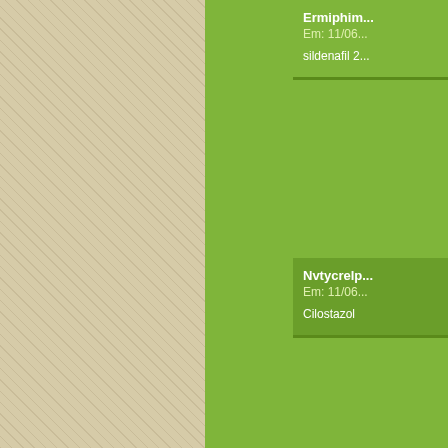Ermiphim... Em: 11/06... sildenafil 2...
Nvtycrelp... Em: 11/06... Cilostazol
AubwKni... Em: 11/06... cialis 40 m...
KatineStr... Em: 12/06... slot casi...